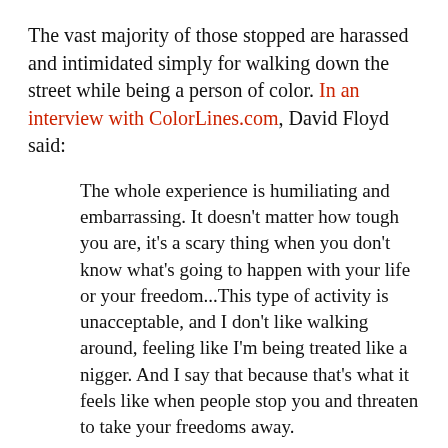The vast majority of those stopped are harassed and intimidated simply for walking down the street while being a person of color. In an interview with ColorLines.com, David Floyd said:
The whole experience is humiliating and embarrassing. It doesn't matter how tough you are, it's a scary thing when you don't know what's going to happen with your life or your freedom...This type of activity is unacceptable, and I don't like walking around, feeling like I'm being treated like a nigger. And I say that because that's what it feels like when people stop you and threaten to take your freedoms away.
The itself has galvanized activists, cultural groups, and community and religious organizations, which have come together to demand police accountability and more than end to filling quotidian P...